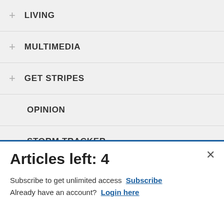+ LIVING
+ MULTIMEDIA
+ GET STRIPES
OPINION
STORM TRACKER
+ PROMOTIONS
TODAY'S PAPER
[Figure (screenshot): Commissary Click2Go advertisement banner with teal/blue gradient background, showing 'COMMISSARY CLICK2GO' logo with green circle, Commissary round logo badge, and text 'order groceries | PICKUP']
Articles left: 4
Subscribe to get unlimited access Subscribe
Already have an account? Login here